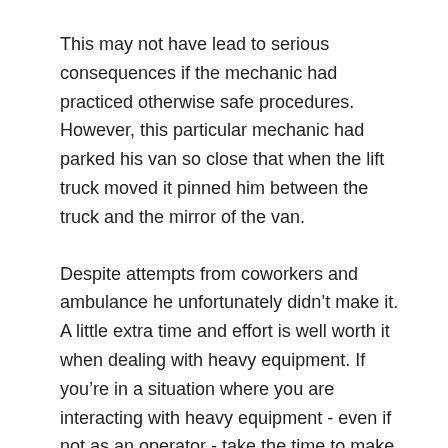This may not have lead to serious consequences if the mechanic had practiced otherwise safe procedures. However, this particular mechanic had parked his van so close that when the lift truck moved it pinned him between the truck and the mirror of the van.
Despite attempts from coworkers and ambulance he unfortunately didn’t make it. A little extra time and effort is well worth it when dealing with heavy equipment. If you’re in a situation where you are interacting with heavy equipment - even if not as an operator - take the time to make sure it is safe.